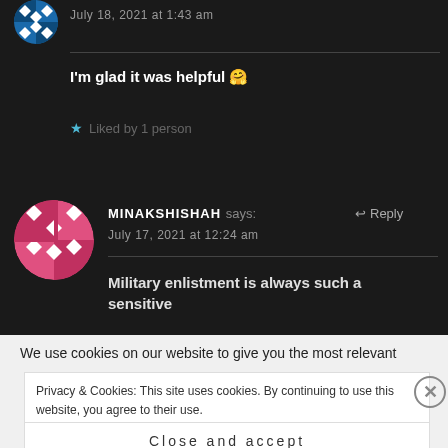July 18, 2021 at 1:43 am
I'm glad it was helpful 🤗
★ Liked by 1 person
MINAKSHISHAH says:
July 17, 2021 at 12:24 am
Military enlistment is always such a sensitive
We use cookies on our website to give you the most relevant
Privacy & Cookies: This site uses cookies. By continuing to use this website, you agree to their use.
To find out more, including how to control cookies, see here: Cookie Policy
Close and accept